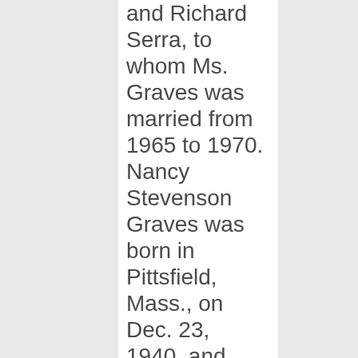and Richard Serra, to whom Ms. Graves was married from 1965 to 1970. Nancy Stevenson Graves was born in Pittsfield, Mass., on Dec. 23, 1940, and throughout her life she retained the reserve and dry humor of a quintessential New